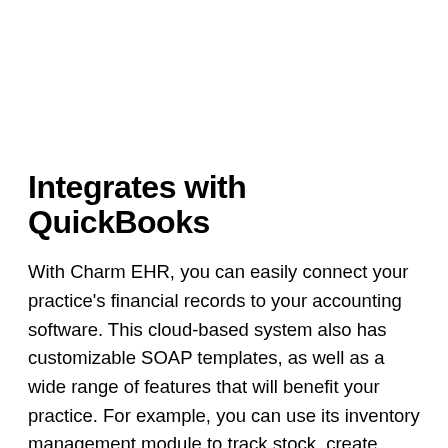Integrates with QuickBooks
With Charm EHR, you can easily connect your practice's financial records to your accounting software. This cloud-based system also has customizable SOAP templates, as well as a wide range of features that will benefit your practice. For example, you can use its inventory management module to track stock, create custom reorder thresholds, and generate reports. Moreover, it comes with a mobile application for practitioners that helps them keep track of appointments, consultation chart notes, and other tasks. Moreover, its cloud-based